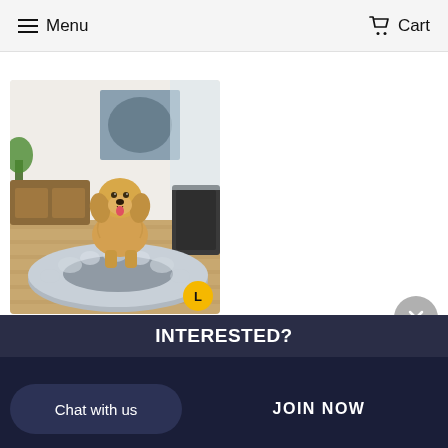Menu   Cart
[Figure (photo): Golden retriever dog sitting in a large round fluffy grey calming pet bed, in a modern home interior setting. A yellow circle badge with 'L' appears in the bottom right corner of the image.]
Pet Bed Dog Cat
Calming Bed Large
INTERESTED?
Chat with us
JOIN NOW